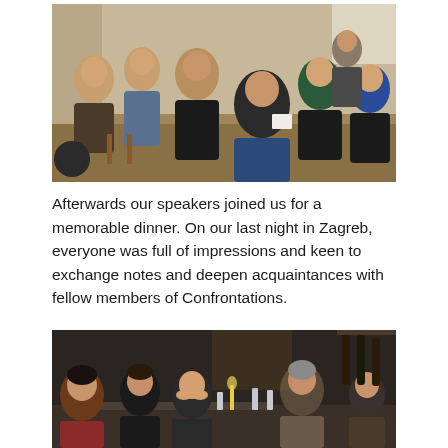[Figure (photo): Group of people seated in a circle in a room, engaged in discussion. Several people visible including someone in a blue top, someone in a black turtleneck, and someone in a patterned top.]
Afterwards our speakers joined us for a memorable dinner. On our last night in Zagreb, everyone was full of impressions and keen to exchange notes and deepen acquaintances with fellow members of Confrontations.
[Figure (photo): People seated at a dinner table in a restaurant, engaged in conversation. Warm lighting, glasses on the table visible.]